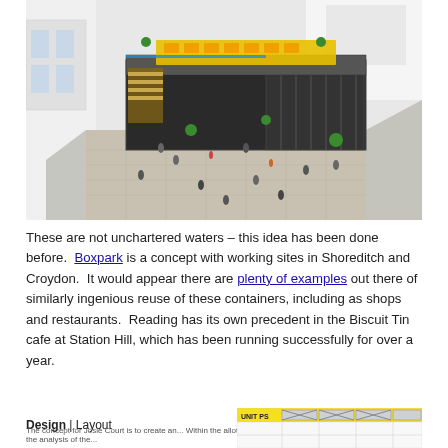[Figure (photo): Aerial perspective rendering of a Boxpark-style shipping container retail/food complex, showing a multi-level structure made of stacked containers with yellow seating on the upper deck, surrounded by pedestrians on a paved courtyard, flanked by white modern buildings.]
These are not unchartered waters – this idea has been done before.  Boxpark is a concept with working sites in Shoreditch and Croydon.  It would appear there are plenty of examples out there of similarly ingenious reuse of these containers, including as shops and restaurants.  Reading has its own precedent in the Biscuit Tin cafe at Station Hill, which has been running successfully for over a year.
Design | Layout
[Figure (schematic): Partial floor plan / layout diagram showing unit PS and a grid pattern, bottom-right of page, partially cropped.]